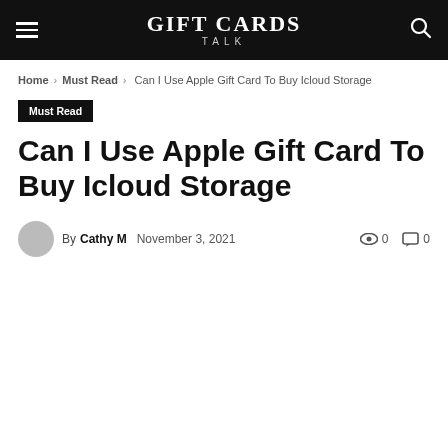GIFT CARDS TALK
Home > Must Read > Can I Use Apple Gift Card To Buy Icloud Storage
Must Read
Can I Use Apple Gift Card To Buy Icloud Storage
By Cathy M  November 3, 2021  0  0